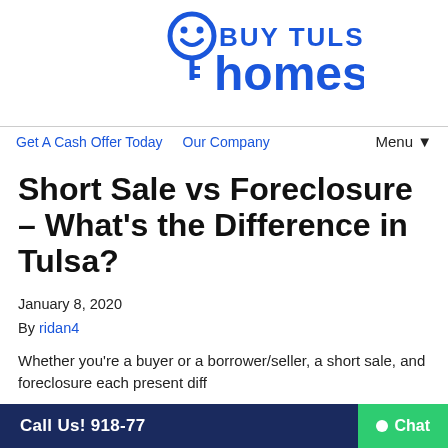[Figure (logo): Buy Tulsa Homes logo with smiley face key icon in blue, large text 'BUY TULSA homes']
Get A Cash Offer Today   Our Company   Menu▼
Short Sale vs Foreclosure – What's the Difference in Tulsa?
January 8, 2020
By ridan4
Whether you're a buyer or a borrower/seller, a short sale, and foreclosure each present diff...
Call Us! 918-77  Chat